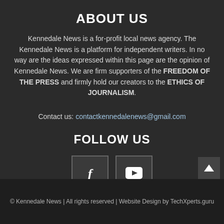ABOUT US
Kennedale News is a for-profit local news agency. The Kennedale News is a platform for independent writers. In no way are the ideas expressed within this page are the opinion of Kennedale News. We are firm supporters of the FREEDOM OF THE PRESS and firmly hold our creators to the ETHICS OF JOURNALISM.
Contact us: contactkennedalenews@gmail.com
FOLLOW US
[Figure (other): Facebook and YouTube social media icon buttons]
© Kennedale News | All rights reserved | Website Design by TechXperts.guru